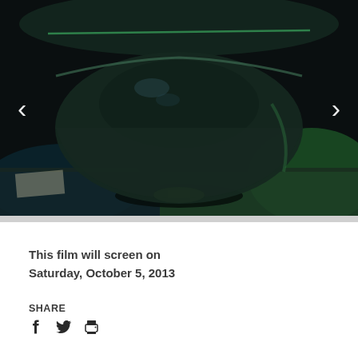[Figure (photo): A dark ceramic bowl lit with green and blue lighting against a dark background, photographed from slightly above, with navigation arrows on the left and right sides of the image.]
This film will screen on Saturday, October 5, 2013
SHARE